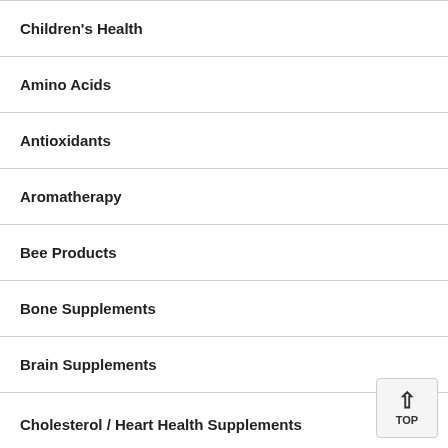Children's Health
Amino Acids
Antioxidants
Aromatherapy
Bee Products
Bone Supplements
Brain Supplements
Cholesterol / Heart Health Supplements